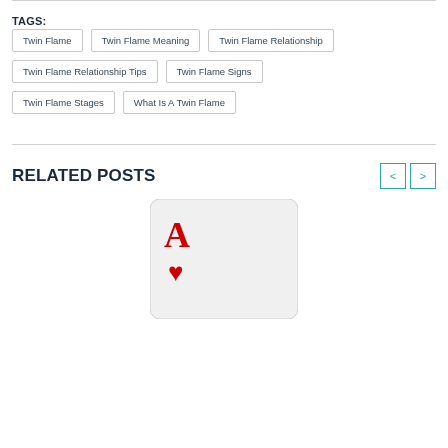TAGS:
Twin Flame
Twin Flame Meaning
Twin Flame Relationship
Twin Flame Relationship Tips
Twin Flame Signs
Twin Flame Stages
What Is A Twin Flame
RELATED POSTS
[Figure (illustration): Ace of hearts playing card on light gray background]